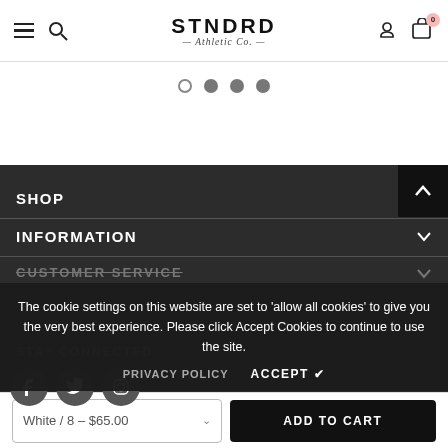STNDRD Athletic Co.
[Figure (other): Carousel pagination dots: one empty circle and three filled grey circles]
SHOP
INFORMATION
CUSTOMER SERVICE
The cookie settings on this website are set to 'allow all cookies' to give you the very best experience. Please click Accept Cookies to continue to use the site.
PRIVACY POLICY   ACCEPT ✔
STAY CONNECTED
[Figure (other): Social media icons row: Facebook, Twitter, Instagram circles]
White / 8 - $65.00   ADD TO CART